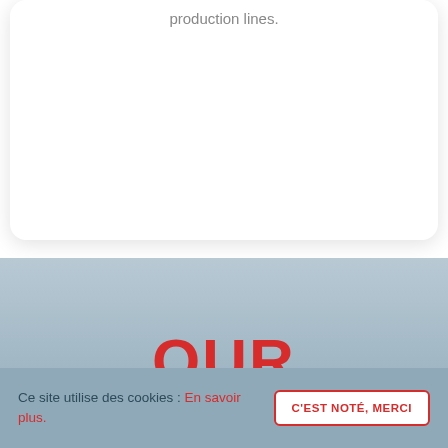production lines.
OUR PRODUCTS
Ce site utilise des cookies : En savoir plus.
C'EST NOTÉ, MERCI